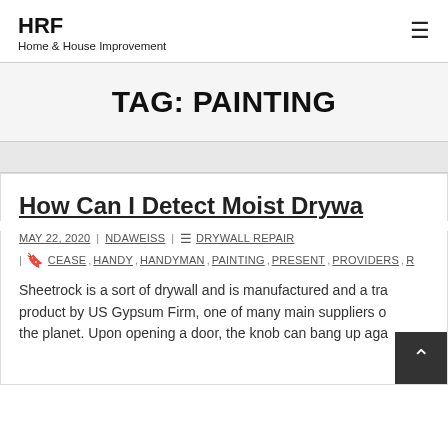HRF
Home & House Improvement
TAG: PAINTING
How Can I Detect Moist Drywa…
MAY 22, 2020 | NDAWEISS | DRYWALL REPAIR
| CEASE , HANDY , HANDYMAN , PAINTING , PRESENT , PROVIDERS , R…
Sheetrock is a sort of drywall and is manufactured and a tra… product by US Gypsum Firm, one of many main suppliers o… the planet. Upon opening a door, the knob can bang up aga…